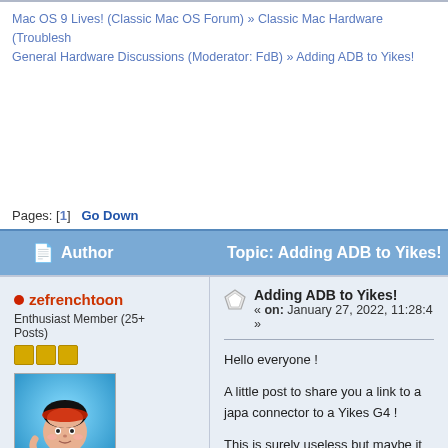Mac OS 9 Lives! (Classic Mac OS Forum) » Classic Mac Hardware (Troublesh General Hardware Discussions (Moderator: FdB) » Adding ADB to Yikes!
Pages: [1]  Go Down
Author   Topic: Adding ADB to Yikes!
zefrenchtoon
Enthusiast Member (25+ Posts)
Posts: 94
Adding ADB to Yikes!
« on: January 27, 2022, 11:28:4 »
Hello everyone !
A little post to share you a link to a japa connector to a Yikes G4 !
This is surely useless but maybe it can